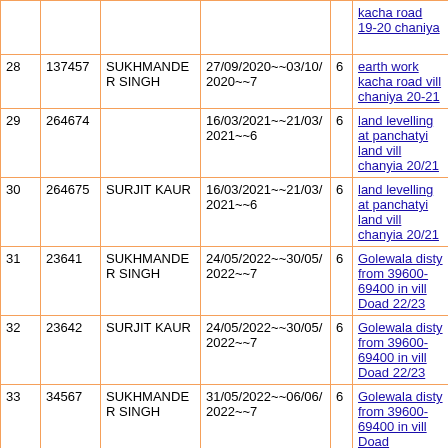| # | ID | Name | Dates | ? | Work |
| --- | --- | --- | --- | --- | --- |
|  |  |  |  |  | kacha road 19-20 chaniya |
| 28 | 137457 | SUKHMANDER SINGH | 27/09/2020~~03/10/2020~~7 | 6 | earth work kacha road vill chaniya 20-21 |
| 29 | 264674 |  | 16/03/2021~~21/03/2021~~6 | 6 | land levelling at panchatyi land vill chanyia 20/21 |
| 30 | 264675 | SURJIT KAUR | 16/03/2021~~21/03/2021~~6 | 6 | land levelling at panchatyi land vill chanyia 20/21 |
| 31 | 23641 | SUKHMANDER SINGH | 24/05/2022~~30/05/2022~~7 | 6 | Golewala disty from 39600-69400 in vill Doad 22/23 |
| 32 | 23642 | SURJIT KAUR | 24/05/2022~~30/05/2022~~7 | 6 | Golewala disty from 39600-69400 in vill Doad 22/23 |
| 33 | 34567 | SUKHMANDER SINGH | 31/05/2022~~06/06/2022~~7 | 6 | Golewala disty from 39600-69400 in vill Doad |